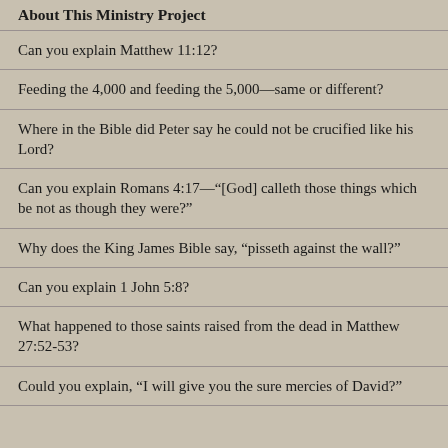About This Ministry Project
Can you explain Matthew 11:12?
Feeding the 4,000 and feeding the 5,000—same or different?
Where in the Bible did Peter say he could not be crucified like his Lord?
Can you explain Romans 4:17—"[God] calleth those things which be not as though they were?"
Why does the King James Bible say, “pisseth against the wall?”
Can you explain 1 John 5:8?
What happened to those saints raised from the dead in Matthew 27:52-53?
Could you explain, “I will give you the sure mercies of David?”